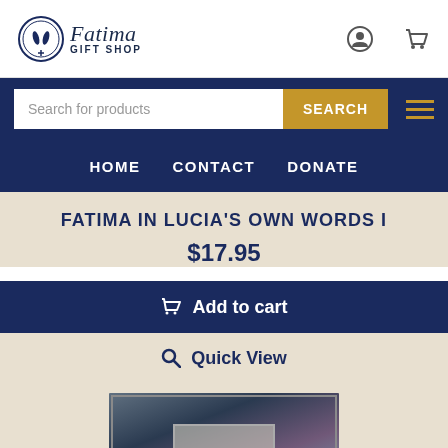Fatima Gift Shop
Search for products
SEARCH
HOME  CONTACT  DONATE
FATIMA IN LUCIA'S OWN WORDS I
$17.95
Add to cart
Quick View
[Figure (photo): Partially visible product image at the bottom of the page, showing a blurred photograph]